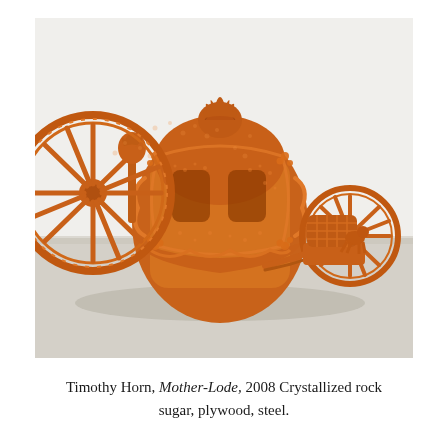[Figure (photo): A photograph of Timothy Horn's sculpture 'Mother-Lode' (2008), an ornate baroque-style carriage entirely covered in orange-amber crystallized rock sugar, with large spoked wheels, elaborate decorative flourishes, and a small driver's seat attachment, set against a plain white gallery wall with light grey floor.]
Timothy Horn, Mother-Lode, 2008 Crystallized rock sugar, plywood, steel.